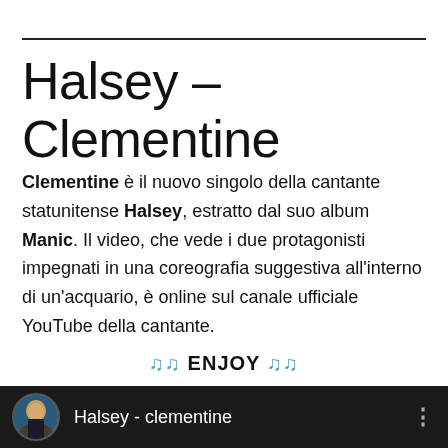Halsey – Clementine
Clementine è il nuovo singolo della cantante statunitense Halsey, estratto dal suo album Manic. Il video, che vede i due protagonisti impegnati in una coreografia suggestiva all'interno di un'acquario, è online sul canale ufficiale YouTube della cantante.
🎵 ENJOY 🎵
[Figure (screenshot): YouTube video bar showing Halsey - clementine with avatar thumbnail on dark background]